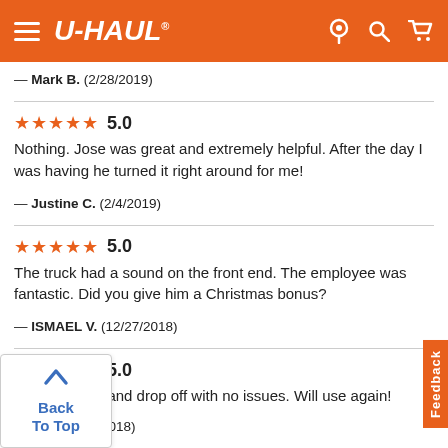[Figure (screenshot): U-Haul website header with orange background, hamburger menu, U-HAUL logo, and icons for location, search, and cart]
— Mark B.  (2/28/2019)
★★★★★ 5.0
Nothing. Jose was great and extremely helpful. After the day I was having he turned it right around for me!
— Justine C.  (2/4/2019)
★★★★★ 5.0
The truck had a sound on the front end. The employee was fantastic. Did you give him a Christmas bonus?
— ISMAEL V.  (12/27/2018)
★★★★★ 5.0
...easy set up and drop off with no issues. Will use again!
— ...S.  (12/19/2018)